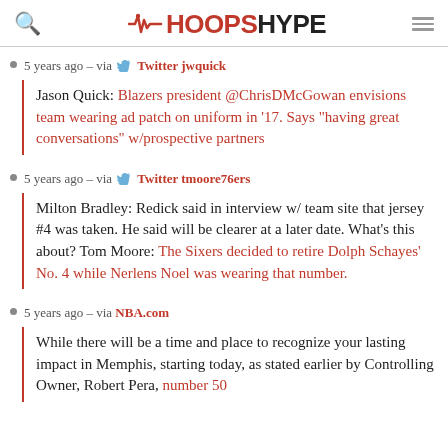HoopsHype
5 years ago – via Twitter jwquick
Jason Quick: Blazers president @ChrisDMcGowan envisions team wearing ad patch on uniform in '17. Says "having great conversations" w/prospective partners
5 years ago – via Twitter tmoore76ers
Milton Bradley: Redick said in interview w/ team site that jersey #4 was taken. He said will be clearer at a later date. What's this about? Tom Moore: The Sixers decided to retire Dolph Schayes' No. 4 while Nerlens Noel was wearing that number.
5 years ago – via NBA.com
While there will be a time and place to recognize your lasting impact in Memphis, starting today, as stated earlier by Controlling Owner, Robert Pera, number 50